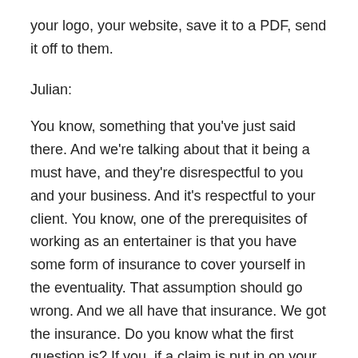your logo, your website, save it to a PDF, send it off to them.
Julian:
You know, something that you've just said there. And we're talking about that it being a must have, and they're disrespectful to you and your business. And it's respectful to your client. You know, one of the prerequisites of working as an entertainer is that you have some form of insurance to cover yourself in the eventuality. That assumption should go wrong. And we all have that insurance. We got the insurance. Do you know what the first question is? If you, if a claim is put in on your insurance, was there a contract in place? Was there an agreement? And they kind of